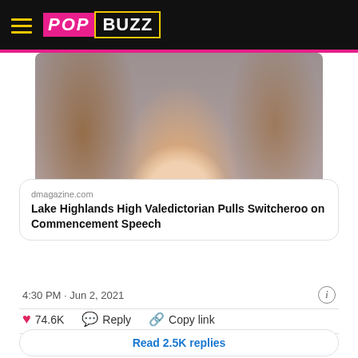PopBuzz
[Figure (photo): Cropped photo of a young woman with long brown hair, smiling, against a neutral background.]
dmagazine.com
Lake Highlands High Valedictorian Pulls Switcheroo on Commencement Speech
4:30 PM · Jun 2, 2021
74.6K  Reply  Copy link
Read 2.5K replies
Speaking to CBS Dallas, Smith said she "was a little bit nervous that the microphone would be cut off. They are supposed to cut off your microphone if you go off script,